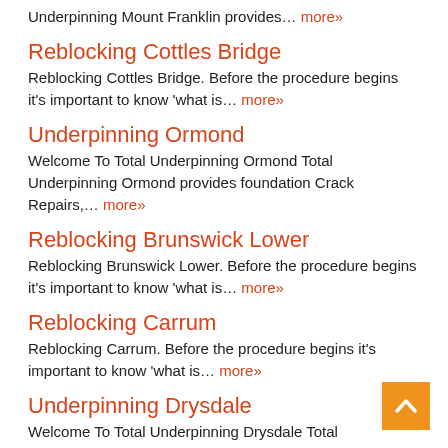Underpinning Mount Franklin provides… more»
Reblocking Cottles Bridge
Reblocking Cottles Bridge. Before the procedure begins it's important to know 'what is… more»
Underpinning Ormond
Welcome To Total Underpinning Ormond Total Underpinning Ormond provides foundation Crack Repairs,… more»
Reblocking Brunswick Lower
Reblocking Brunswick Lower. Before the procedure begins it's important to know 'what is… more»
Reblocking Carrum
Reblocking Carrum. Before the procedure begins it's important to know 'what is… more»
Underpinning Drysdale
Welcome To Total Underpinning Drysdale Total Underpinning Drysdale provides foundation Crack… more»